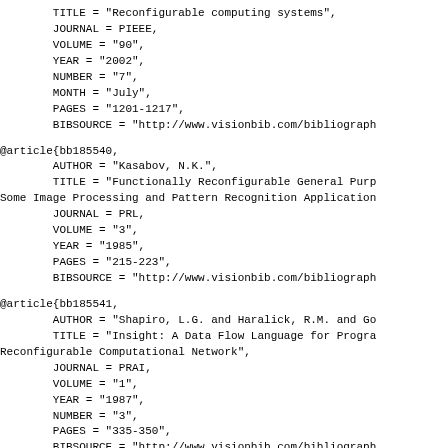AUTHOR = "Bondiaputai, N. and Prasanna, VKR.",
        TITLE = "Reconfigurable computing systems",
        JOURNAL = PIEEE,
        VOLUME = "90",
        YEAR = "2002",
        NUMBER = "7",
        MONTH = "July",
        PAGES = "1201-1217",
        BIBSOURCE = "http://www.visionbib.com/bibliograph
@article{bb185540,
        AUTHOR = "Kasabov, N.K.",
        TITLE = "Functionally Reconfigurable General Purp
Some Image Processing and Pattern Recognition Application
        JOURNAL = PRL,
        VOLUME = "3",
        YEAR = "1985",
        PAGES = "215-223",
        BIBSOURCE = "http://www.visionbib.com/bibliograph
@article{bb185541,
        AUTHOR = "Shapiro, L.G. and Haralick, R.M. and Go
        TITLE = "Insight: A Data Flow Language for Progra
Reconfigurable Computational Network",
        JOURNAL = PRAI,
        VOLUME = "1",
        YEAR = "1987",
        NUMBER = "3",
        PAGES = "335-350",
        BIBSOURCE = "http://www.visionbib.com/bibliograph